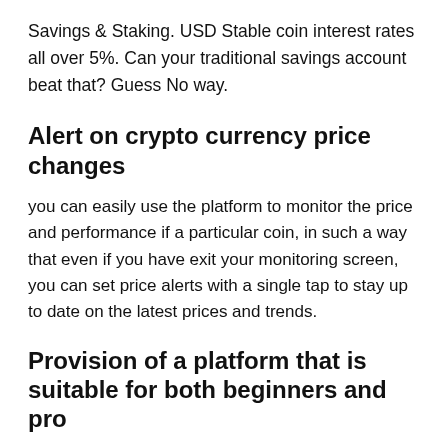Savings & Staking. USD Stable coin interest rates all over 5%. Can your traditional savings account beat that? Guess No way.
Alert on crypto currency price changes
you can easily use the platform to monitor the price and performance if a particular coin, in such a way that even if you have exit your monitoring screen, you can set price alerts with a single tap to stay up to date on the latest prices and trends.
Provision of a platform that is suitable for both beginners and pro
Even if you're new to crypto, Binance app's mobile-first